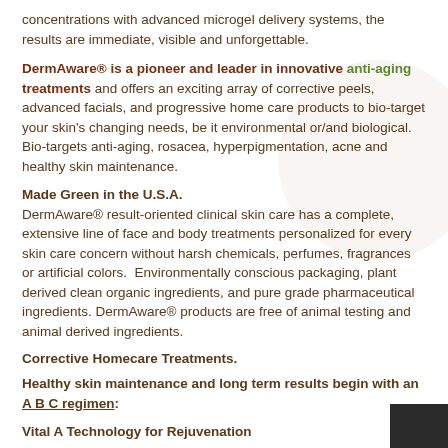concentrations with advanced microgel delivery systems, the results are immediate, visible and unforgettable.
DermAware® is a pioneer and leader in innovative anti-aging treatments and offers an exciting array of corrective peels, advanced facials, and progressive home care products to bio-target your skin's changing needs, be it environmental or/and biological. Bio-targets anti-aging, rosacea, hyperpigmentation, acne and healthy skin maintenance.
Made Green in the U.S.A.
DermAware® result-oriented clinical skin care has a complete, extensive line of face and body treatments personalized for every skin care concern without harsh chemicals, perfumes, fragrances or artificial colors.  Environmentally conscious packaging, plant derived clean organic ingredients, and pure grade pharmaceutical ingredients. DermAware® products are free of animal testing and animal derived ingredients.
Corrective Homecare Treatments.
Healthy skin maintenance and long term results begin with an A B C regimen:
Vital A Technology for Rejuvenation